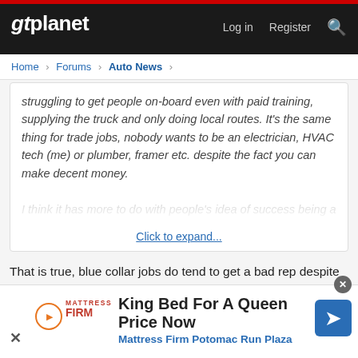gtplanet — Log in  Register
Home > Forums > Auto News >
struggling to get people on-board even with paid training, supplying the truck and only doing local routes. It's the same thing for trade jobs, nobody wants to be an electrician, HVAC tech (me) or plumber, framer etc. despite the fact you can make decent money.

I think it has more to do with people's idea of success being a
Click to expand...
That is true, blue collar jobs do tend to get a bad rep despite their paying as much as or often more then the tech sector jobs that are overcrowded now. Though that can be attributed to a lot of the younger workforce growing up during the dot-com bubble, and being told that IT was where the big money was (before computers became ubiquitous and greatly simplified).
[Figure (screenshot): Advertisement banner: King Bed For A Queen Price Now — Mattress Firm Potomac Run Plaza]